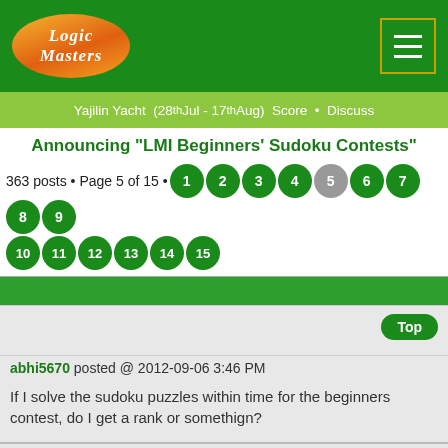Logic Masters logo header with navigation menu button
Yajilin Yacht  (28th Jul - 17th Aug)  Score  •  Discuss
Announcing "LMI Beginners' Sudoku Contests"
363 posts • Page 5 of 15 • 1 2 3 4 5 6 7 8 9
10 11 12 13 14 15
abhi5670 posted @ 2012-09-06 3:46 PM
If I solve the sudoku puzzles within time for the beginners contest, do I get a rank or somethign?
Administrator posted @ 2012-09-06 4:15 PM